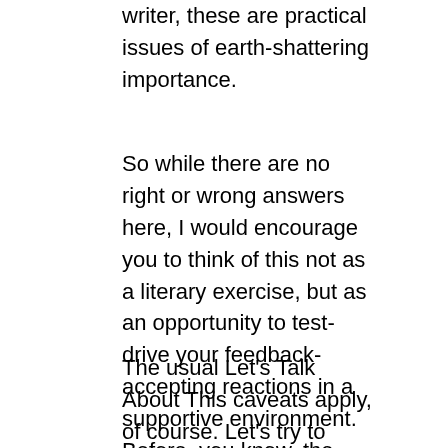writer, these are practical issues of earth-shattering importance.
So while there are no right or wrong answers here, I would encourage you to think of this not as a literary exercise, but as an opportunity to test-drive your feedback-accepting reactions in a supportive environment. Before, you know, the stakes are as high as they were for Truman.
The usual Let's Talk About This caveats apply, of course. Let's try to keep this constructive, and do bear in mind that a comment posted on a website tends to stay